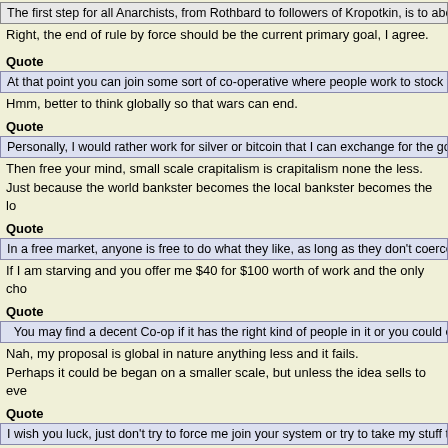The first step for all Anarchists, from Rothbard to followers of Kropotkin, is to abolish the state.
Right, the end of rule by force should be the current primary goal, I agree.
Quote
At that point you can join some sort of co-operative where people work to stock the shelves of a co...
Hmm, better to think globally so that wars can end.
Quote
Personally, I would rather work for silver or bitcoin that I can exchange for the goods I want.
Then free your mind, small scale crapitalism is crapitalism none the less.
Just because the world bankster becomes the local bankster becomes the lo...
Quote
In a free market, anyone is free to do what they like, as long as they don't coerce others.
If I am starving and you offer me $40 for $100 worth of work and the only cho...
Quote
You may find a decent Co-op if it has the right kind of people in it or you could even start your own...
Nah, my proposal is global in nature anything less and it fails.
Perhaps it could be began on a smaller scale, but unless the idea sells to eve...
Quote
I wish you luck, just don't try to force me join your system or try to take my stuff that I worked for.
Nope, if I can't convince you of the preferability of my idea it is not worthy of a...
Even if my idea was accepted there will be no large scale expropriation of go...